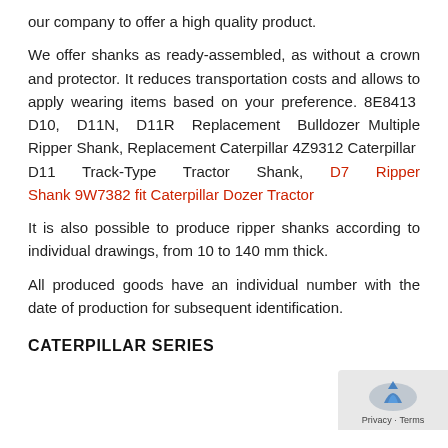our company to offer a high quality product.

We offer shanks as ready-assembled, as without a crown and protector. It reduces transportation costs and allows to apply wearing items based on your preference. 8E8413 D10, D11N, D11R Replacement Bulldozer Multiple Ripper Shank, Replacement Caterpillar 4Z9312 Caterpillar D11 Track-Type Tractor Shank, D7 Ripper Shank 9W7382 fit Caterpillar Dozer Tractor
It is also possible to produce ripper shanks according to individual drawings, from 10 to 140 mm thick.
All produced goods have an individual number with the date of production for subsequent identification.
CATERPILLAR SERIES